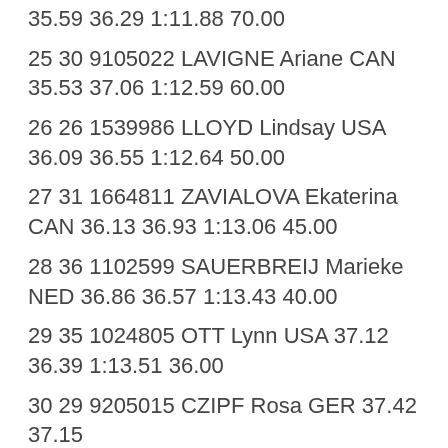35.59 36.29 1:11.88 70.00
25 30 9105022 LAVIGNE Ariane CAN 35.53 37.06 1:12.59 60.00
26 26 1539986 LLOYD Lindsay USA 36.09 36.55 1:12.64 50.00
27 31 1664811 ZAVIALOVA Ekaterina CAN 36.13 36.93 1:13.06 45.00
28 36 1102599 SAUERBREIJ Marieke NED 36.86 36.57 1:13.43 40.00
29 35 1024805 OTT Lynn USA 37.12 36.39 1:13.51 36.00
30 29 9205015 CZIPF Rosa GER 37.42 37.15